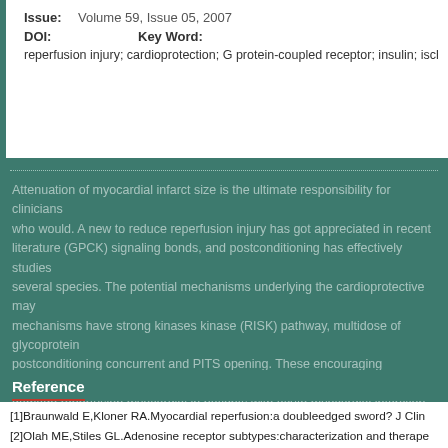Issue: Volume 59, Issue 05, 2007
DOI:
Key Word:
reperfusion injury; cardioprotection; G protein-coupled receptor; insulin; ischemic postconditioning
Abstract text body (partially visible, faded on teal background)
Reference
[1]Braunwald E,Kloner RA.Myocardial reperfusion:a doubleedged sword? J Clin
[2]Olah ME,Stiles GL.Adenosine receptor subtypes:characterization and therape
[3]Headrick JP,Hack B,Ashton KJ.Acute adenosinergic cardioprotection in ische
[4]Liu GS,Thornton J,Van Winkle DM,Stanley AWH,Olsson RA,Downey JM.Prote mediated by A1 adenosine receptors in rabbit heart.Circulation 1991; 84:350-35
[5]Cohen MV,Baines CP,Downey JM.Ischemic preconditioning:from adenosine r